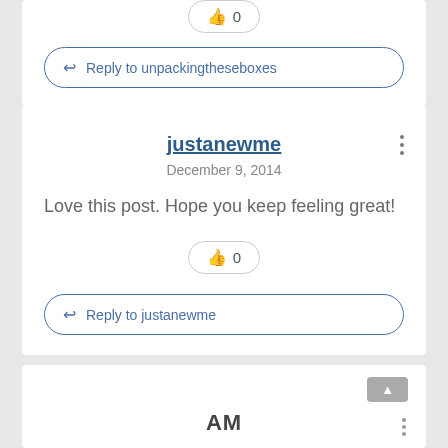[Figure (screenshot): Like button pill showing thumbs up icon and count 0]
Reply to unpackingtheseboxes
justanewme
December 9, 2014
Love this post. Hope you keep feeling great!
[Figure (screenshot): Like button pill showing thumbs up icon and count 0]
Reply to justanewme
[Figure (screenshot): Partial bottom card with up arrow button and AM text partially visible]